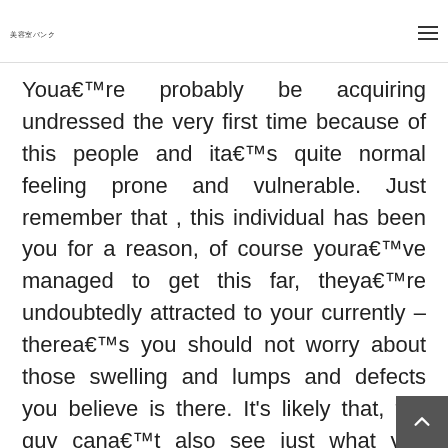美容室バンク
Youa€™re probably be acquiring undressed the very first time because of this people and ita€™s quite normal feeling prone and vulnerable. Just remember that , this individual has been you for a reason, of course youra€™ve managed to get this far, theya€™re undoubtedly attracted to your currently – therea€™s you should not worry about those swelling and lumps and defects you believe is there. It's likely that, the guy cana€™t also see just what you would